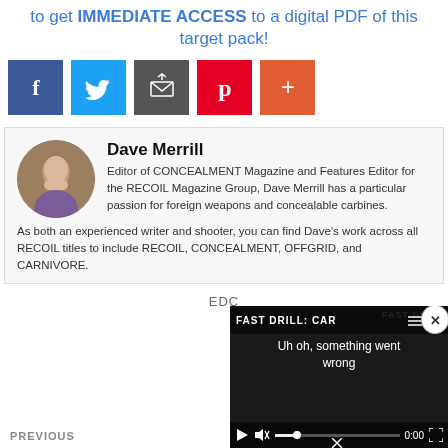to get IMMEDIATE ACCESS to a digital PDF of this target pack!
[Figure (infographic): Social sharing buttons: Facebook (blue), Twitter (light blue), Email/share (dark gray), Pinterest (red), More/plus (orange-red)]
Dave Merrill
Editor of CONCEALMENT Magazine and Features Editor for the RECOIL Magazine Group, Dave Merrill has a particular passion for foreign weapons and concealable carbines. As both an experienced writer and shooter, you can find Dave's work across all RECOIL titles to include RECOIL, CONCEALMENT, OFFGRID, and CARNIVORE.
EDC
PREVIOUS
[Figure (screenshot): Video player overlay showing 'FAST DRILL: CAR' title with error message 'Uh oh, something went wrong'. Controls show play button, muted audio icon, progress bar with X mark, time 0:00, and fullscreen button. Background shows a dark video frame with 'FAST DRILL' watermark.]